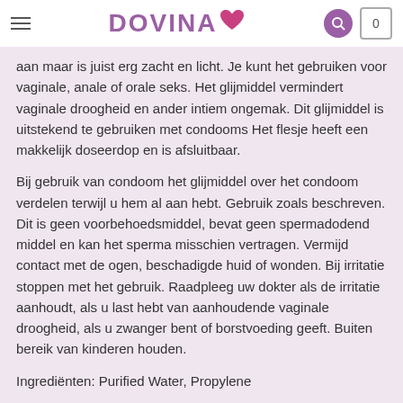DOVINA
aan maar is juist erg zacht en licht. Je kunt het gebruiken voor vaginale, anale of orale seks. Het glijmiddel vermindert vaginale droogheid en ander intiem ongemak. Dit glijmiddel is uitstekend te gebruiken met condooms Het flesje heeft een makkelijk doseerdop en is afsluitbaar.
Bij gebruik van condoom het glijmiddel over het condoom verdelen terwijl u hem al aan hebt. Gebruik zoals beschreven. Dit is geen voorbehoedsmiddel, bevat geen spermadodend middel en kan het sperma misschien vertragen. Vermijd contact met de ogen, beschadigde huid of wonden. Bij irritatie stoppen met het gebruik. Raadpleeg uw dokter als de irritatie aanhoudt, als u last hebt van aanhoudende vaginale droogheid, als u zwanger bent of borstvoeding geeft. Buiten bereik van kinderen houden.
Ingrediënten: Purified Water, Propylene